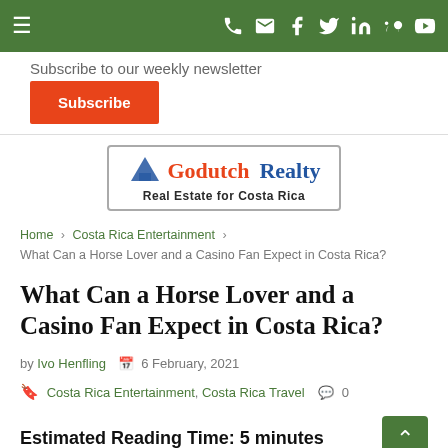Navigation bar with hamburger menu, phone, email, Facebook, Twitter, LinkedIn, Pinterest, YouTube icons
Subscribe to our weekly newsletter
Subscribe
[Figure (logo): Godutch Realty - Real Estate for Costa Rica logo]
Home > Costa Rica Entertainment > What Can a Horse Lover and a Casino Fan Expect in Costa Rica?
What Can a Horse Lover and a Casino Fan Expect in Costa Rica?
by Ivo Henfling  6 February, 2021  Costa Rica Entertainment, Costa Rica Travel  0
Estimated Reading Time: 5 minutes